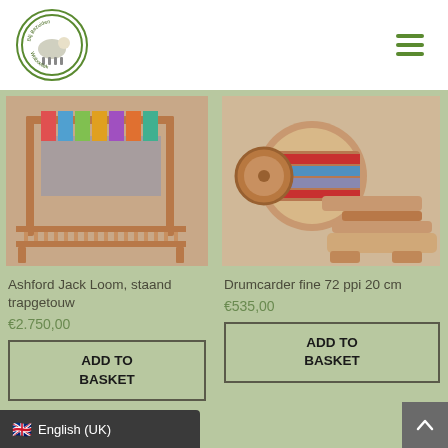[Figure (logo): Blij Bezuiden Wolboetiek circular logo with sheep illustration]
[Figure (photo): Ashford Jack Loom standing treadle loom wooden weaving equipment]
Ashford Jack Loom, staand trapgetouw
€2.750,00
ADD TO BASKET
[Figure (photo): Drumcarder fine 72 ppi 20 cm drum carding machine]
Drumcarder fine 72 ppi 20 cm
€535,00
ADD TO BASKET
English (UK)